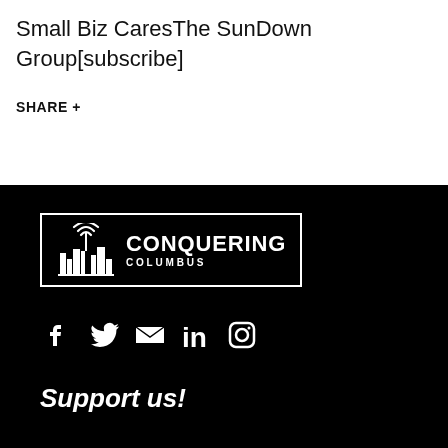Small Biz CaresThe SunDown Group[subscribe]
SHARE +
[Figure (logo): Conquering Columbus logo: white rectangle border with city skyline and radio tower icon on left, text CONQUERING COLUMBUS on right]
[Figure (infographic): Social media icons: Facebook, Twitter, Email, LinkedIn, Instagram — all white on black background]
Support us!